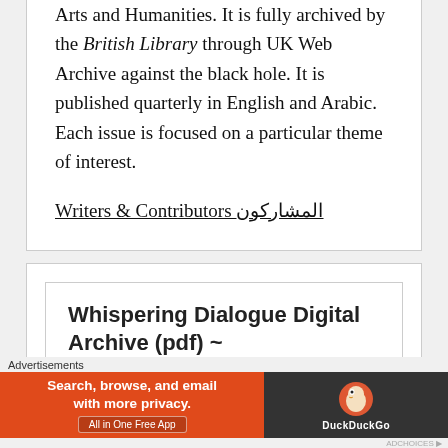Arts and Humanities. It is fully archived by the British Library through UK Web Archive against the black hole. It is published quarterly in English and Arabic. Each issue is focused on a particular theme of interest.
Writers & Contributors المشاركون
[Figure (screenshot): Card showing title 'Whispering Dialogue Digital Archive (pdf) ~']
Advertisements
[Figure (infographic): DuckDuckGo advertisement banner: 'Search, browse, and email with more privacy. All in One Free App' with DuckDuckGo logo on dark right side]